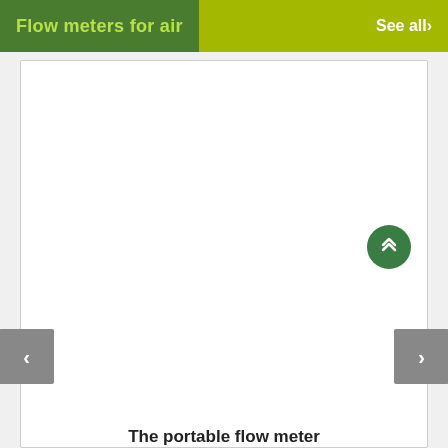Flow meters for air
See all›
[Figure (photo): Product image area for portable flow meter (white/empty image area with navigation arrows on sides)]
The portable flow meter
Portable Flow Measurement of Compressed Air. There are many advantages to using compressed air in mode...